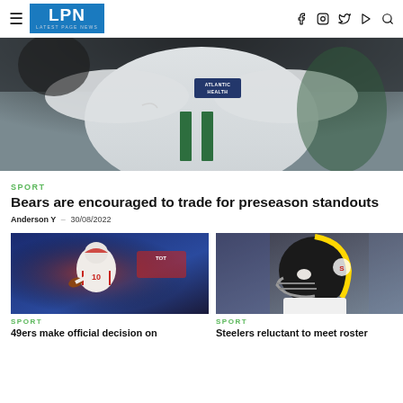LPN LATEST PAGE NEWS
[Figure (photo): Close-up of an NFL Jets player's white jersey with Atlantic Health badge and green number 11, dark background]
SPORT
Bears are encouraged to trade for preseason standouts
Anderson Y – 30/08/2022
[Figure (photo): San Francisco 49ers quarterback in white jersey with red stripes, number 10, preparing to throw]
SPORT
49ers make official decision on
[Figure (photo): Pittsburgh Steelers player wearing black and gold helmet, white jersey, on field]
SPORT
Steelers reluctant to meet roster